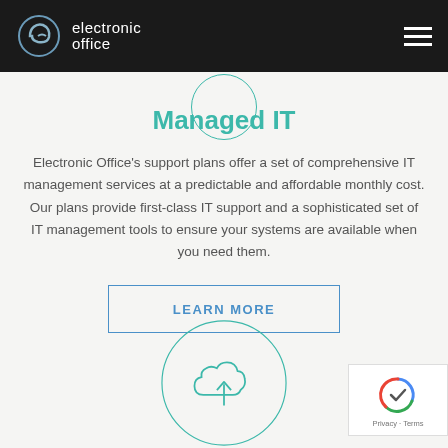[Figure (logo): Electronic Office logo with stylized 'e' icon in blue-gray and white text on dark background, with hamburger menu icon on right]
[Figure (illustration): Partial teal/mint circle outline visible at top center, cropped from above]
Managed IT
Electronic Office's support plans offer a set of comprehensive IT management services at a predictable and affordable monthly cost. Our plans provide first-class IT support and a sophisticated set of IT management tools to ensure your systems are available when you need them.
LEARN MORE
[Figure (illustration): Teal circle outline with a cloud upload icon (arrow pointing up inside cloud shape) in teal, partially visible at bottom of page]
[Figure (illustration): reCAPTCHA badge in bottom right corner showing Google reCAPTCHA logo with Privacy and Terms text]